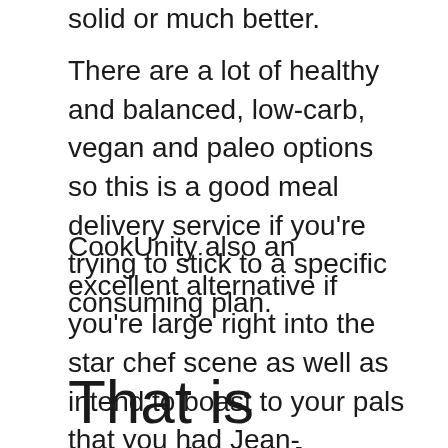solid or much better.
There are a lot of healthy and balanced, low-carb, vegan and paleo options so this is a good meal delivery service if you’re trying to stick to a specific consuming plan.
CookUnity also an excellent alternative if you’re large right into the star chef scene as well as intend to boast to your pals that you had Jean-Georges’ pizza for supper last night. And also yes, the French-born, James Beard Award-winning chef actually has a pizza dish on the CookUnity menu. Go number.
That is CookUnity not